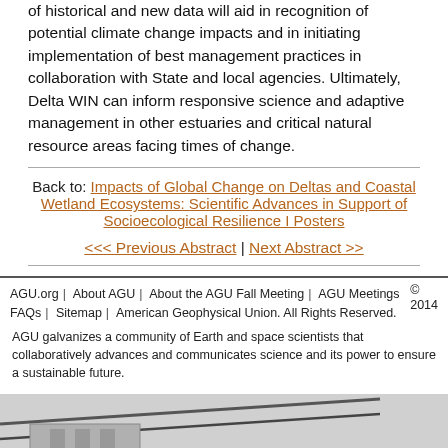of historical and new data will aid in recognition of potential climate change impacts and in initiating implementation of best management practices in collaboration with State and local agencies. Ultimately, Delta WIN can inform responsive science and adaptive management in other estuaries and critical natural resource areas facing times of change.
Back to: Impacts of Global Change on Deltas and Coastal Wetland Ecosystems: Scientific Advances in Support of Socioecological Resilience I Posters
<< Previous Abstract | Next Abstract >>
AGU.org | About AGU | About the AGU Fall Meeting | AGU Meetings | © 2014
FAQs | Sitemap | American Geophysical Union. All Rights Reserved.
AGU galvanizes a community of Earth and space scientists that collaboratively advances and communicates science and its power to ensure a sustainable future.
[Figure (photo): Partial image of a building or structure visible at bottom of page, cropped.]